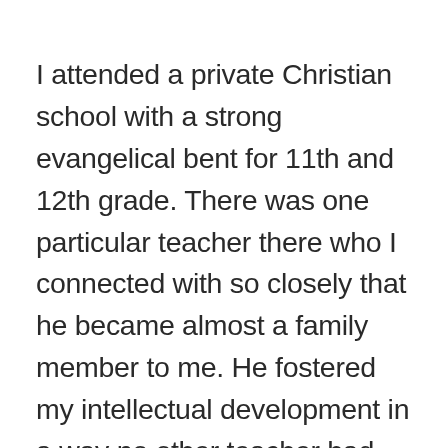I attended a private Christian school with a strong evangelical bent for 11th and 12th grade. There was one particular teacher there who I connected with so closely that he became almost a family member to me. He fostered my intellectual development in a way no other teacher had, praised my creative writing and singing, and supported me emotionally when I was struggling with abuse at home and undiagnosed mental illness. I used to spend hours with him – both in his classroom after school and over email – discussing philosophy, politics, literature, theology, music, psychology… anything my anxious, nerdy mind could grapple with. He was my intellectual mentor and the person who